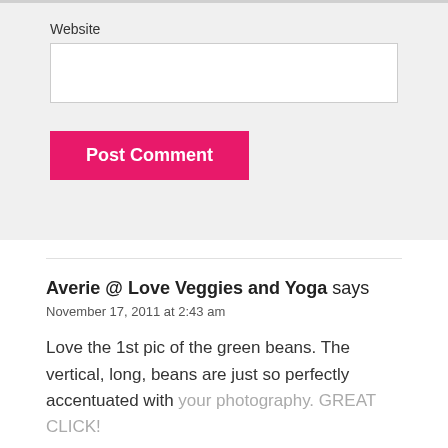Website
Post Comment
Averie @ Love Veggies and Yoga says
November 17, 2011 at 2:43 am
Love the 1st pic of the green beans. The vertical, long, beans are just so perfectly accentuated with your photography. GREAT CLICK!
Reply